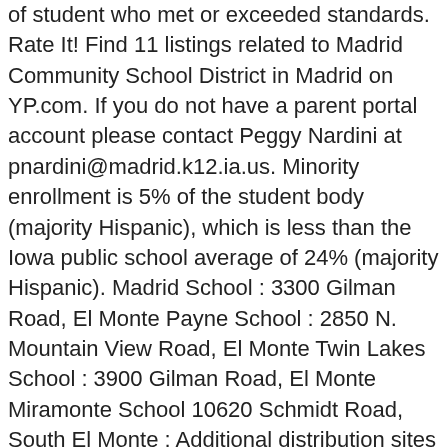of student who met or exceeded standards. Rate It! Find 11 listings related to Madrid Community School District in Madrid on YP.com. If you do not have a parent portal account please contact Peggy Nardini at pnardini@madrid.k12.ia.us. Minority enrollment is 5% of the student body (majority Hispanic), which is less than the Iowa public school average of 24% (majority Hispanic). Madrid School : 3300 Gilman Road, El Monte Payne School : 2850 N. Mountain View Road, El Monte Twin Lakes School : 3900 Gilman Road, El Monte Miramonte School 10620 Schmidt Road, South El Monte : Additional distribution sites will be added in the future. This year, Madrid Community School District dropped 48 slots in our statewide ranking, and ranks worse than 54.5% districts in Iowa. Madrid Community Schools Skip to main content . P (515) 433-0750 F (515) 433-0753. Teachers N/A. Rate It! Madrid Community School serves K-12th grade students and is located in Madrid, IA. Manson Northwest Webster Community School District is a public school district located in Manson, IA. COVID-19: Visit the Iowa Department of Education COVID-19 resource page for information relevant to